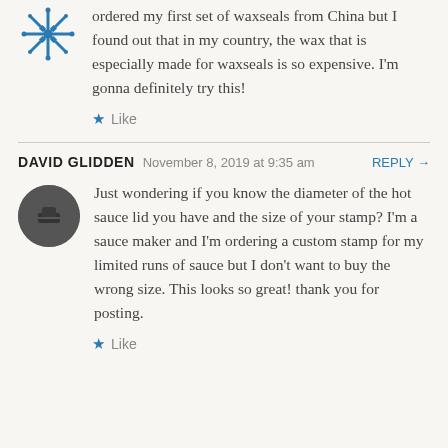ordered my first set of waxseals from China but I found out that in my country, the wax that is especially made for waxseals is so expensive. I'm gonna definitely try this!
Like
DAVID GLIDDEN   November 8, 2019 at 9:35 am   REPLY →
Just wondering if you know the diameter of the hot sauce lid you have and the size of your stamp? I'm a sauce maker and I'm ordering a custom stamp for my limited runs of sauce but I don't want to buy the wrong size. This looks so great! thank you for posting.
Like